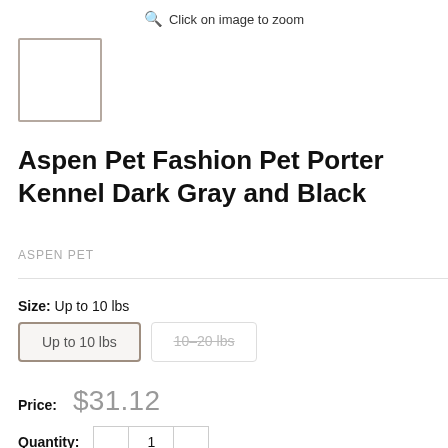Click on image to zoom
[Figure (other): Small product thumbnail placeholder box with brown border]
Aspen Pet Fashion Pet Porter Kennel Dark Gray and Black
ASPEN PET
Size: Up to 10 lbs
Up to 10 lbs
10–20 lbs
Price: $31.12
Quantity: 1